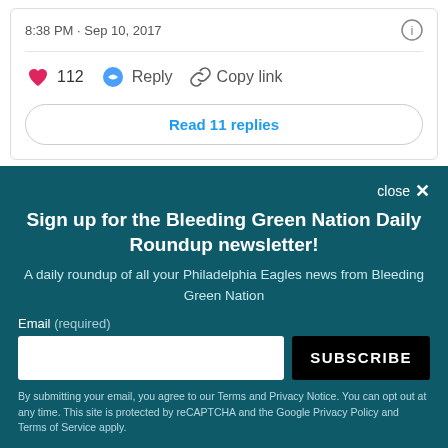8:38 PM · Sep 10, 2017
112  Reply  Copy link
Read 11 replies
Sign up for the Bleeding Green Nation Daily Roundup newsletter!
A daily roundup of all your Philadelphia Eagles news from Bleeding Green Nation
Email (required)
SUBSCRIBE
By submitting your email, you agree to our Terms and Privacy Notice. You can opt out at any time. This site is protected by reCAPTCHA and the Google Privacy Policy and Terms of Service apply.